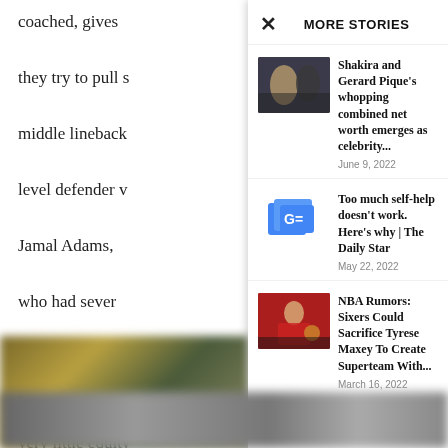coached, gives they try to pull s middle linebacker level defender w Jamal Adams, who had sever
Seattle fans wo very little equity just means tha the course thes
MORE STORIES
[Figure (photo): Photo of Shakira and Gerard Pique together]
Shakira and Gerard Pique's whopping combined net worth emerges as celebrity...
June 9, 2022
[Figure (logo): Google News logo icon]
Too much self-help doesn't work. Here's why | The Daily Star
May 22, 2022
[Figure (photo): NBA player in red uniform dribbling basketball]
NBA Rumors: Sixers Could Sacrifice Tyrese Maxey To Create Superteam With...
March 16, 2022
[Figure (photo): Blurred sports photo at bottom of page]